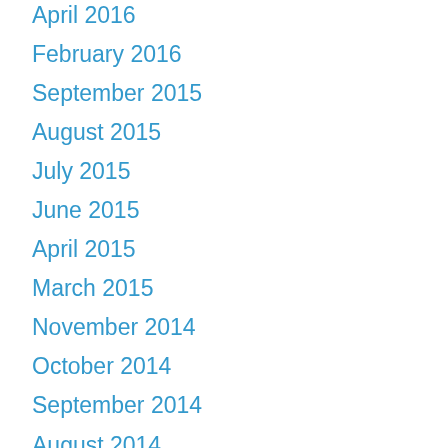April 2016
February 2016
September 2015
August 2015
July 2015
June 2015
April 2015
March 2015
November 2014
October 2014
September 2014
August 2014
July 2014
June 2014
May 2014